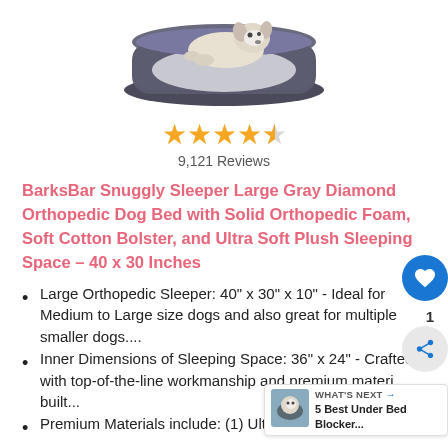[Figure (photo): Dog bed product photo showing a gray diamond orthopedic dog bed with a dog resting in it, viewed from above]
★★★★½
9,121 Reviews
BarksBar Snuggly Sleeper Large Gray Diamond Orthopedic Dog Bed with Solid Orthopedic Foam, Soft Cotton Bolster, and Ultra Soft Plush Sleeping Space - 40 x 30 Inches
Large Orthopedic Sleeper: 40" x 30" x 10" - Ideal for Medium to Large size dogs and also great for multiple smaller dogs....
Inner Dimensions of Sleeping Space: 36" x 24" - Crafted with top-of-the-line workmanship and premium materi... built...
Premium Materials include: (1) Ultra Soft